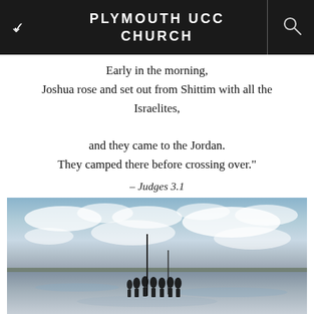PLYMOUTH UCC CHURCH
Early in the morning,
Joshua rose and set out from Shittim with all the Israelites,
and they came to the Jordan.
They camped there before crossing over."
– Judges 3.1
[Figure (photo): Group of pilgrims (silhouettes) crossing a tidal flat toward Lindisfarne, with a broad cloudy sky and reflective wet sand]
"Pilgrims crossing onto Lindisfarne," Hal Chorpenning